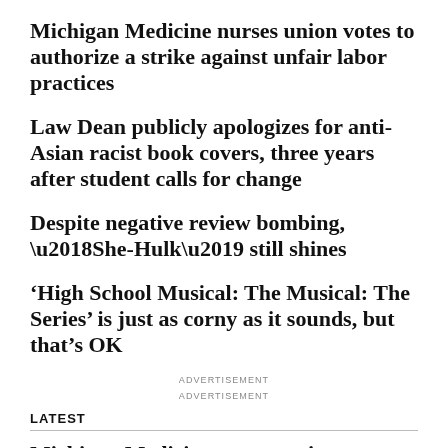Michigan Medicine nurses union votes to authorize a strike against unfair labor practices
Law Dean publicly apologizes for anti-Asian racist book covers, three years after student calls for change
Despite negative review bombing, ‘She-Hulk’ still shines
‘High School Musical: The Musical: The Series’ is just as corny as it sounds, but that’s OK
ADVERTISEMENT
ADVERTISEMENT
LATEST
Michigan Medicine nurses union votes